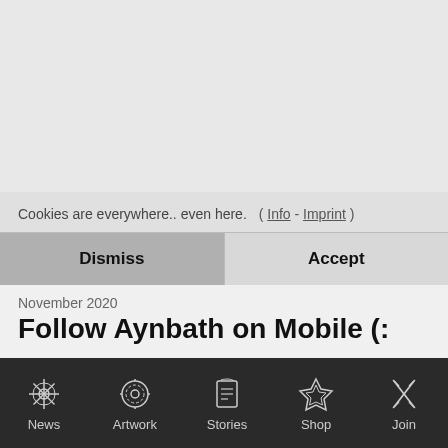Cookies are everywhere.. even here.  ( Info - Imprint )
Dismiss
Accept
November 2020
Follow Aynbath on Mobile (:
Telegram is a free uncensored Messenger App. Feel free to join there instead of the mail list:
News  Artwork  Stories  Shop  Join